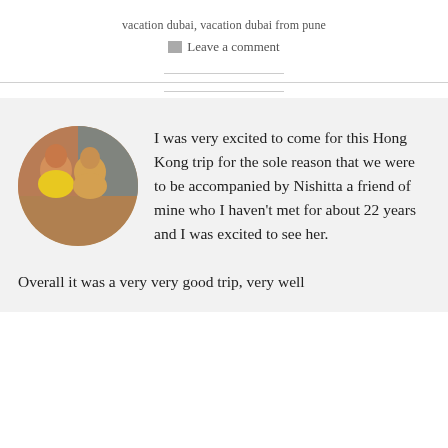vacation dubai, vacation dubai from pune
Leave a comment
[Figure (photo): Circular avatar photo of two women, one in yellow outfit, standing outdoors near a brick wall]
I was very excited to come for this Hong Kong trip for the sole reason that we were to be accompanied by Nishitta a friend of mine who I haven't met for about 22 years and I was excited to see her.
Overall it was a very very good trip, very well